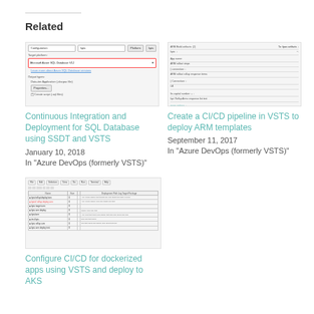Related
[Figure (screenshot): Screenshot of SQL Server Data Tools configuration showing Target platform set to Microsoft Azure SQL Database V12 with link 'Learn more about Azure SQL Database versions', Output types section with 'Data-tier Application (.dacpac file)' selected and Properties button, Create script (.sql files) checkbox]
Continuous Integration and Deployment for SQL Database using SSDT and VSTS
January 10, 2018
In "Azure DevOps (formerly VSTS)"
[Figure (screenshot): Screenshot of a form/settings page with fields for API Build artifacts including App name, App service plan, Location, and other settings with dropdown menus and text inputs]
Create a CI/CD pipeline in VSTS to deploy ARM templates
September 11, 2017
In "Azure DevOps (formerly VSTS)"
[Figure (screenshot): Screenshot of a code/log output window showing a table with multiple columns including file paths, sizes, and timestamps — appears to be a directory listing or build output in a terminal/IDE]
Configure CI/CD for dockerized apps using VSTS and deploy to AKS